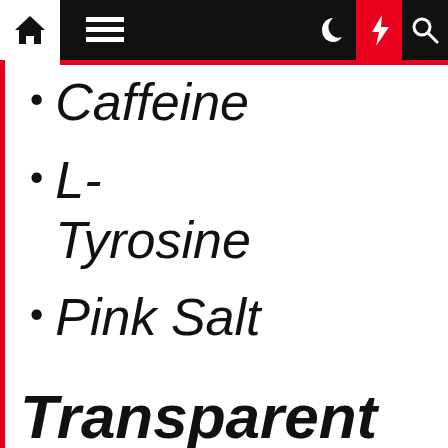Navigation bar with home, menu, moon, bolt, search icons
Caffeine
L-Tyrosine
Pink Salt
Transparent